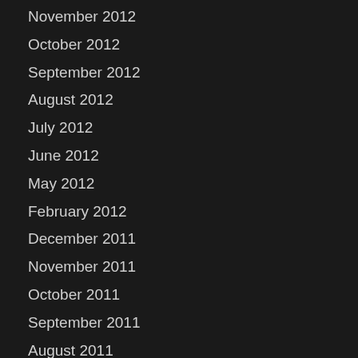November 2012
October 2012
September 2012
August 2012
July 2012
June 2012
May 2012
February 2012
December 2011
November 2011
October 2011
September 2011
August 2011
July 2011
June 2011
May 2011
April 2011